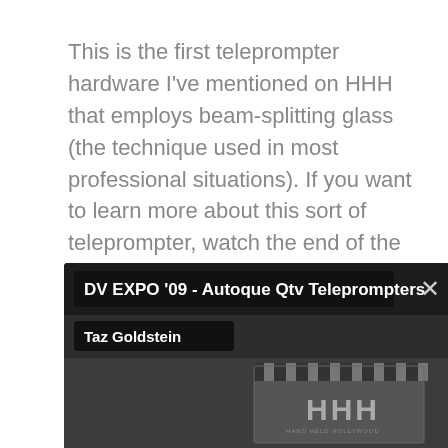This is the first teleprompter hardware I've mentioned on HHH that employs beam-splitting glass (the technique used in most professional situations). If you want to learn more about this sort of teleprompter, watch the end of the video, and I'll do my best to explain.

Please excuse the picture and sound quality.
[Figure (screenshot): Video player screenshot showing title 'DV EXPO '09 - Autoque Qtv Teleprompters', author 'Taz Goldstein', and a thumbnail with a clapperboard showing HHH logo (Hard Held Hollywood)]